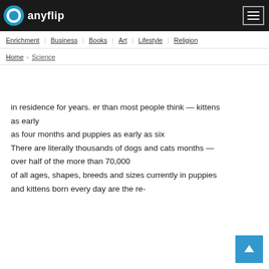anyflip
Enrichment
Business
Books
Art
Lifestyle
Religion
Home / Science
in residence for years. er than most people think — kittens as early
as four months and puppies as early as six
There are literally thousands of dogs and cats months — over half of the more than 70,000
of all ages, shapes, breeds and sizes currently in puppies and kittens born every day are the re-